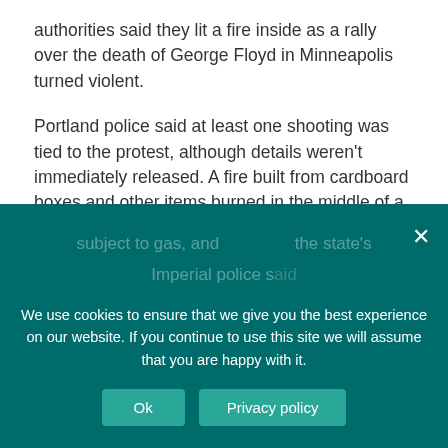authorities said they lit a fire inside as a rally over the death of George Floyd in Minneapolis turned violent.
Portland police said at least one shooting was tied to the protest, although details weren't immediately released. A fire built from cardboard boxes and other items burned in the middle of a street downtown and video appeared to show people breaking into Pioneer Place mall and taking bags from a Louis Vuitton store. Police said they deployed gas after people threw projectiles at them. Firefighters were responding to the fires, police said.
We use cookies to ensure that we give you the best experience on our website. If you continue to use this site we will assume that you are happy with it.
Ok
Privacy policy